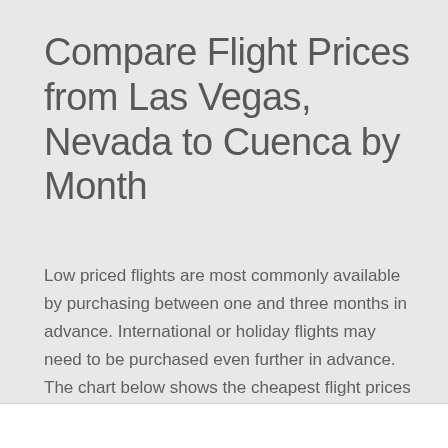Compare Flight Prices from Las Vegas, Nevada to Cuenca by Month
Low priced flights are most commonly available by purchasing between one and three months in advance. International or holiday flights may need to be purchased even further in advance. The chart below shows the cheapest flight prices by month for Las Vegas, Nevada to Cuenca flights.